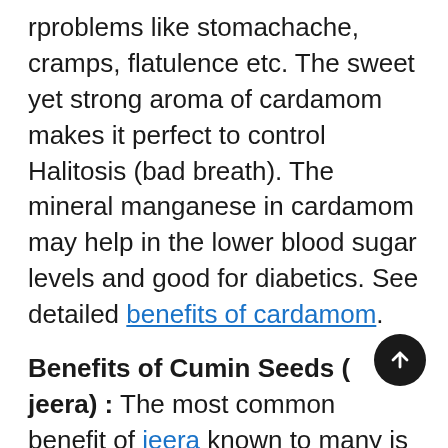rproblems like stomachache, cramps, flatulence etc. The sweet yet strong aroma of cardamom makes it perfect to control Halitosis (bad breath). The mineral manganese in cardamom may help in the lower blood sugar levels and good for diabetics. See detailed benefits of cardamom.
Benefits of Cumin Seeds ( jeera) : The most common benefit of jeera known to many is to soothe the stomach, intestine and the entire digestive tract. Cumin seeds are apparently a very good source of iron. A tbsp. of cumin seeds can fulfil nearly 20% of days iron requirement. Even small quantity of cumin seeds has huge amounts of calcium – a bone supporting mineral. They aid is digestion